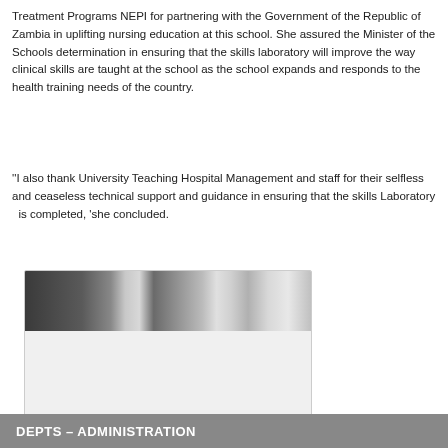Treatment Programs NEPI for partnering with the Government of the Republic of Zambia in uplifting nursing education at this school. She assured the Minister of the Schools determination in ensuring that the skills laboratory will improve the way clinical skills are taught at the school as the school expands and responds to the health training needs of the country.
"I also thank University Teaching Hospital Management and staff for their selfless and ceaseless technical support and guidance in ensuring that the skills Laboratory   is completed, 'she concluded.
[Figure (photo): Photo showing one of the demonstration rooms in the skills laboratory, with a partial view of equipment and room interior.]
One of the demonstration rooms in the Lab
DEPTS – ADMINISTRATION